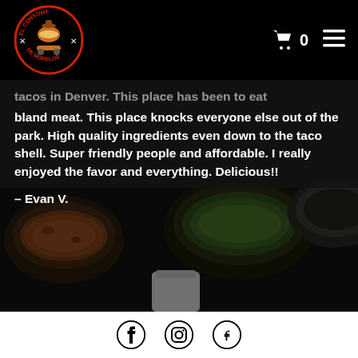El Consome De Morelos — navigation header with logo, cart (0), and menu icon
bland meat. This place knocks everyone else out of the park. High quality ingredients even down to the taco shell. Super friendly people and affordable. I really enjoyed the favor and everything. Delicious!!
– Evan V.
[Figure (photo): Background photo of Mexican food serving bowls with sauces/salsas on a dark surface]
Social media icons: Facebook, Instagram, Yelp